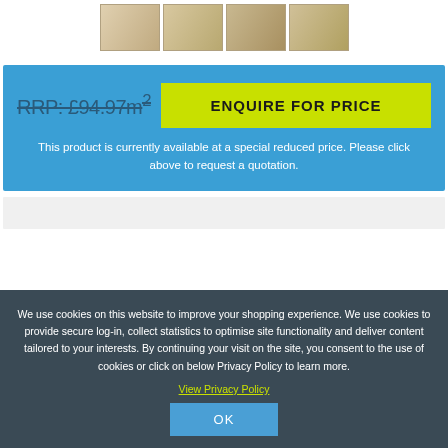[Figure (photo): Four thumbnail images of wood/flooring product shown in a horizontal row]
RRP: £94.97m²
ENQUIRE FOR PRICE
This product is currently available at a special reduced price. Please click above to request a quotation.
We use cookies on this website to improve your shopping experience. We use cookies to provide secure log-in, collect statistics to optimise site functionality and deliver content tailored to your interests. By continuing your visit on the site, you consent to the use of cookies or click on below Privacy Policy to learn more.
View Privacy Policy
OK